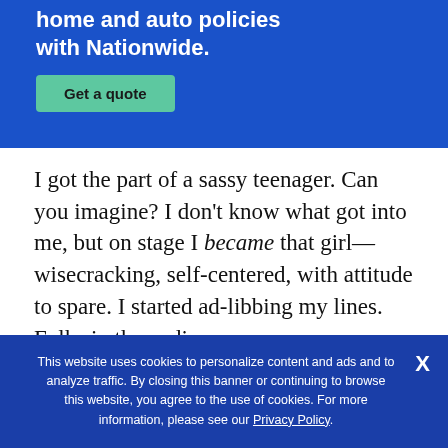[Figure (infographic): Blue Nationwide insurance advertisement banner with bold white text and a green 'Get a quote' button]
I got the part of a sassy teenager. Can you imagine? I don't know what got into me, but on stage I became that girl—wisecracking, self-centered, with attitude to spare. I started ad-libbing my lines. Folks in the audience were
This website uses cookies to personalize content and ads and to analyze traffic. By closing this banner or continuing to browse this website, you agree to the use of cookies. For more information, please see our Privacy Policy.